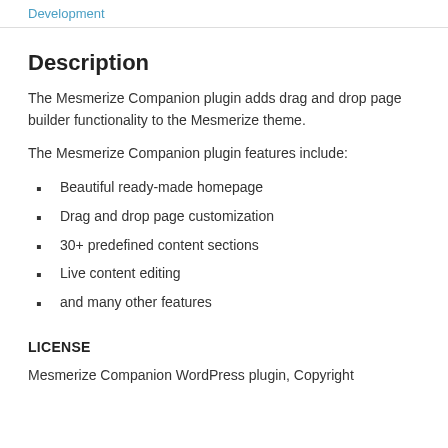Development
Description
The Mesmerize Companion plugin adds drag and drop page builder functionality to the Mesmerize theme.
The Mesmerize Companion plugin features include:
Beautiful ready-made homepage
Drag and drop page customization
30+ predefined content sections
Live content editing
and many other features
LICENSE
Mesmerize Companion WordPress plugin, Copyright